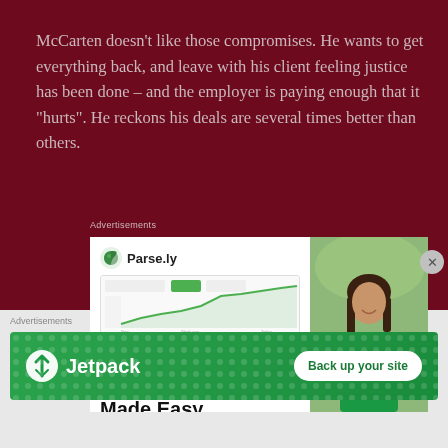McCarten doesn't like those compromises. He wants to get everything back, and leave with his client feeling justice has been done – and the employer is paying enough that it "hurts". He reckons his deals are several times better than others.
Advertisements
[Figure (advertisement): Parse.ly Content Analytics Made Easy advertisement with a smiling woman in green sweater and a line chart screenshot]
Advertisements
[Figure (advertisement): Jetpack 'Back up your site' green banner advertisement]